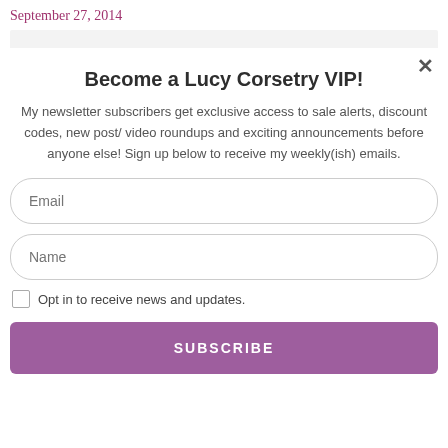September 27, 2014
That too, Rose! Population in Europe rose during the 10th century – as Ann
Become a Lucy Corsetry VIP!
My newsletter subscribers get exclusive access to sale alerts, discount codes, new post/ video roundups and exciting announcements before anyone else! Sign up below to receive my weekly(ish) emails.
Email
Name
Opt in to receive news and updates.
SUBSCRIBE